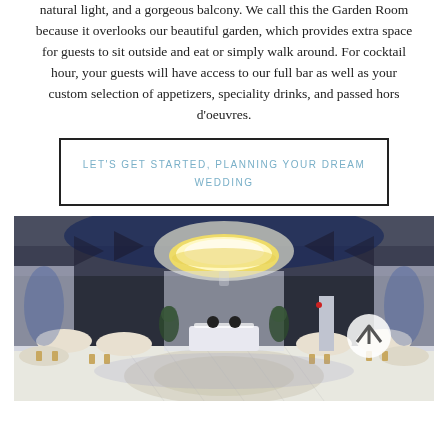natural light, and a gorgeous balcony. We call this the Garden Room because it overlooks our beautiful garden, which provides extra space for guests to sit outside and eat or simply walk around. For cocktail hour, your guests will have access to our full bar as well as your custom selection of appetizers, speciality drinks, and passed hors d'oeuvres.
LET'S GET STARTED, PLANNING YOUR DREAM WEDDING
[Figure (photo): Elegant ballroom with large crystal chandelier, white drapery, round tables with white linens, gold chiavari chairs, a dance floor with ornate tile design, blue uplighting, and a sweetheart table at the far end.]